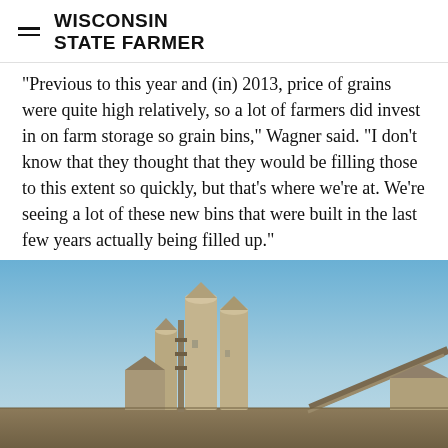WISCONSIN STATE FARMER
"Previous to this year and (in) 2013, price of grains were quite high relatively, so a lot of farmers did invest in on farm storage so grain bins," Wagner said. "I don't know that they thought that they would be filling those to this extent so quickly, but that's where we're at. We're seeing a lot of these new bins that were built in the last few years actually being filled up."
[Figure (photo): Outdoor photo of grain storage silos and farm equipment against a blue sky, with what appears to be an auger or conveyor arm visible on the right side.]